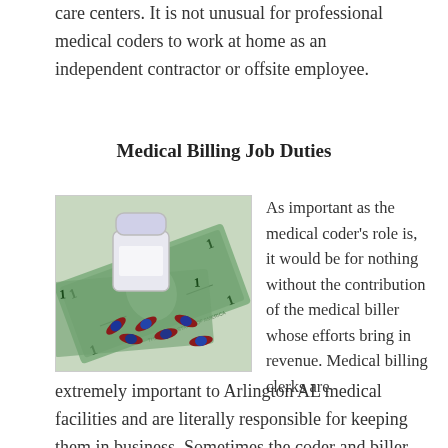care centers. It is not unusual for professional medical coders to work at home as an independent contractor or offsite employee.
Medical Billing Job Duties
[Figure (photo): A pill bottle with red and dark capsule pills spilled onto US dollar bills, suggesting the cost of medication and medical billing.]
As important as the medical coder's role is, it would be for nothing without the contribution of the medical biller whose efforts bring in revenue. Medical billing clerks are extremely important to Arlington AL medical facilities and are literally responsible for keeping them in business. Sometimes the coder and biller can be the same individual within a